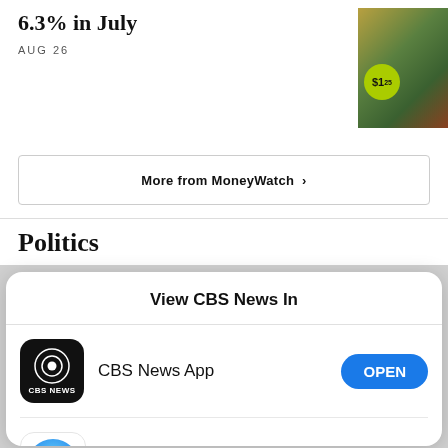6.3% in July
AUG 26
[Figure (photo): Photo of a price tag showing $1.25 on a product at a store]
More from MoneyWatch  >
Politics
View CBS News In
CBS News App
OPEN
Safari
CONTINUE